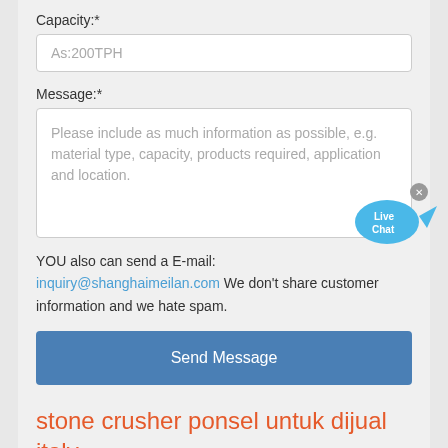Capacity:*
As:200TPH
Message:*
Please include as much information as possible, e.g. material type, capacity, products required, application and location.
YOU also can send a E-mail: inquiry@shanghaimeilan.com We don't share customer information and we hate spam.
[Figure (illustration): Live Chat bubble icon with 'Live Chat' text and an X close button]
Send Message
stone crusher ponsel untuk dijual italy
it also can be classified as contacts to Direct Stone Mining Mill